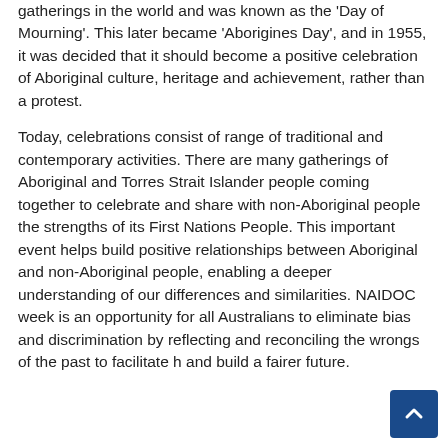This protest was one of the first major civil rights gatherings in the world and was known as the 'Day of Mourning'. This later became 'Aborigines Day', and in 1955, it was decided that it should become a positive celebration of Aboriginal culture, heritage and achievement, rather than a protest.
Today, celebrations consist of range of traditional and contemporary activities. There are many gatherings of Aboriginal and Torres Strait Islander people coming together to celebrate and share with non-Aboriginal people the strengths of its First Nations People. This important event helps build positive relationships between Aboriginal and non-Aboriginal people, enabling a deeper understanding of our differences and similarities. NAIDOC week is an opportunity for all Australians to eliminate bias and discrimination by reflecting and reconciling the wrongs of the past to facilitate healing and build a fairer future.